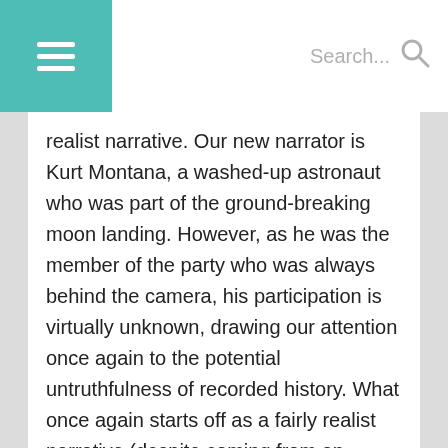Search...
realist narrative. Our new narrator is Kurt Montana, a washed-up astronaut who was part of the ground-breaking moon landing. However, as he was the member of the party who was always behind the camera, his participation is virtually unknown, drawing our attention once again to the potential untruthfulness of recorded history. What once again starts off as a fairly realist narrative (despite coming from an unreliable narrator) soon becomes surrealist and perhaps even psychedelic. To add to this, some scenes are disconcertingly similar to those we have already read in Book I, familiar characters appear, and dialogue and